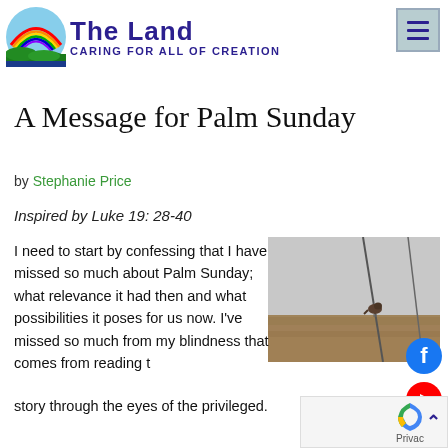[Figure (logo): The Land logo with rainbow and green hill graphic, title 'The Land' in bold dark blue, subtitle 'Caring for All of Creation' in dark blue small caps]
A Message for Palm Sunday
by Stephanie Price
Inspired by Luke 19: 28-40
[Figure (photo): Outdoor landscape photo showing a bird perched on a wire or thin branch against a grey sky with brown ground visible below]
I need to start by confessing that I have missed so much about Palm Sunday; what relevance it had then and what possibilities it poses for us now. I've missed so much from my blindness that comes from reading the story through the eyes of the privileged.